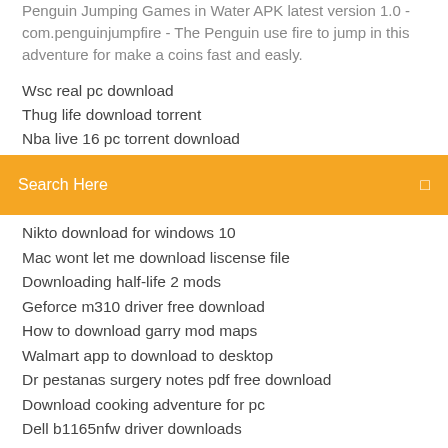Penguin Jumping Games in Water APK latest version 1.0 - com.penguinjumpfire - The Penguin use fire to jump in this adventure for make a coins fast and easly.
Wsc real pc download
Thug life download torrent
Nba live 16 pc torrent download
Search Here
Nikto download for windows 10
Mac wont let me download liscense file
Downloading half-life 2 mods
Geforce m310 driver free download
How to download garry mod maps
Walmart app to download to desktop
Dr pestanas surgery notes pdf free download
Download cooking adventure for pc
Dell b1165nfw driver downloads
Seeker notes download for pc